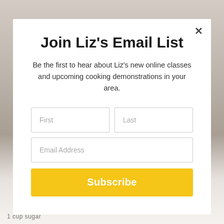[Figure (photo): Background photo of a wooden table with a coffee cup, partially visible behind the modal popup]
Join Liz's Email List
Be the first to hear about Liz's new online classes and upcoming cooking demonstrations in your area.
First | Last (form input fields)
Email Address (form input field)
Subscribe (button)
1 cup sugar